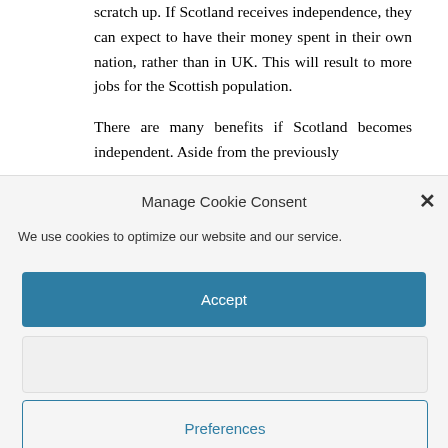scratch up. If Scotland receives independence, they can expect to have their money spent in their own nation, rather than in UK. This will result to more jobs for the Scottish population.

There are many benefits if Scotland becomes independent. Aside from the previously
Manage Cookie Consent
We use cookies to optimize our website and our service.
Accept
Preferences
Privacy policy